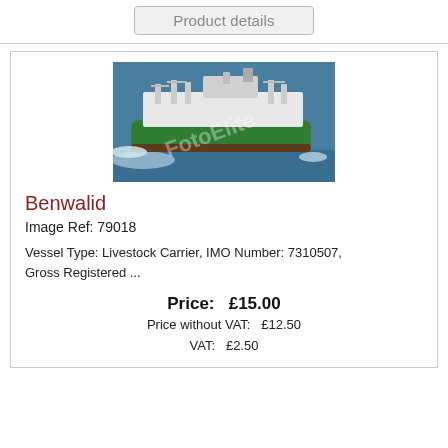Product details
[Figure (photo): Aerial/side view of the livestock carrier ship Benwalid at sea, green hull with white superstructure, watermark text overlaid]
Benwalid
Image Ref: 79018
Vessel Type: Livestock Carrier, IMO Number: 7310507, Gross Registered ...
Price: £15.00
Price without VAT: £12.50
VAT: £2.50